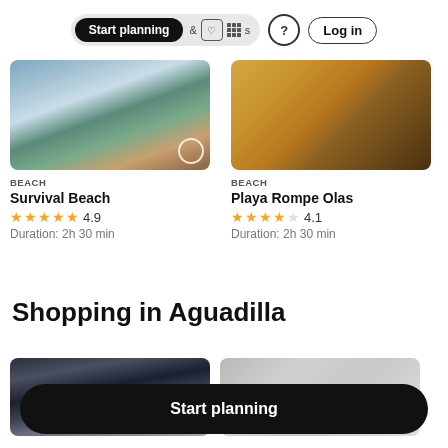Start planning  Activities  ? Log in
[Figure (screenshot): Partial beach photo for Survival Beach card]
BEACH
Survival Beach
★★★★★ 4.9
Duration: 2h 30 min
[Figure (screenshot): Partial blurred orange/brown beach photo for Playa Rompe Olas card]
BEACH
Playa Rompe Olas
★★★★☆ 4.1
Duration: 2h 30 min
Shopping in Aguadilla
[Figure (photo): Shopping location photo 1, dark sky scene]
[Figure (photo): Shopping location photo 2, blurred grey]
Start planning